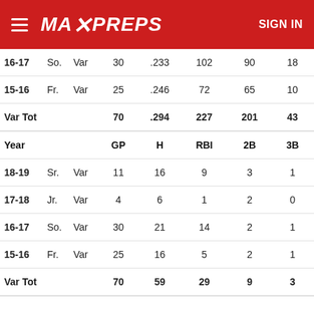MaxPreps — SIGN IN
| Year |  |  | GP | H | RBI | 2B | 3B |
| --- | --- | --- | --- | --- | --- | --- | --- |
| 16-17 | So. | Var | 30 | .233 | 102 | 90 | 18 |
| 15-16 | Fr. | Var | 25 | .246 | 72 | 65 | 10 |
| Var Tot |  |  | 70 | .294 | 227 | 201 | 43 |
| Year |  |  | GP | H | RBI | 2B | 3B |
| 18-19 | Sr. | Var | 11 | 16 | 9 | 3 | 1 |
| 17-18 | Jr. | Var | 4 | 6 | 1 | 2 | 0 |
| 16-17 | So. | Var | 30 | 21 | 14 | 2 | 1 |
| 15-16 | Fr. | Var | 25 | 16 | 5 | 2 | 1 |
| Var Tot |  |  | 70 | 59 | 29 | 9 | 3 |